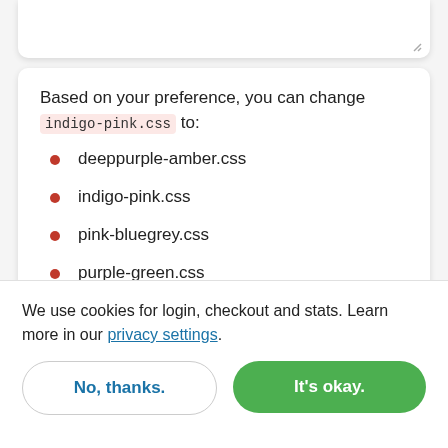Based on your preference, you can change indigo-pink.css to:
deeppurple-amber.css
indigo-pink.css
pink-bluegrey.css
purple-green.css
We use cookies for login, checkout and stats. Learn more in our privacy settings.
No, thanks.
It's okay.